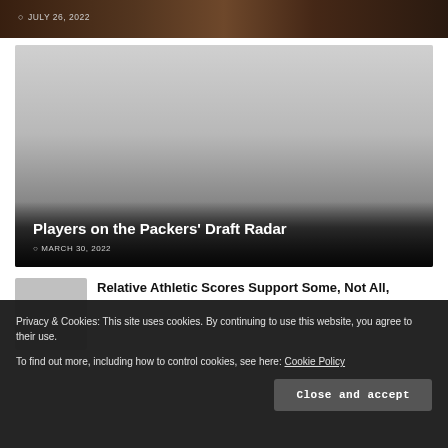[Figure (photo): Top portion of a photo of a building/street scene, dark toned]
JULY 26, 2022
[Figure (photo): Large card image for 'Players on the Packers' Draft Radar' article, gradient fading to dark at bottom]
Players on the Packers' Draft Radar
MARCH 30, 2022
[Figure (photo): Small thumbnail for Relative Athletic Scores article]
Relative Athletic Scores Support Some, Not All,
Privacy & Cookies: This site uses cookies. By continuing to use this website, you agree to their use.
To find out more, including how to control cookies, see here: Cookie Policy
Close and accept